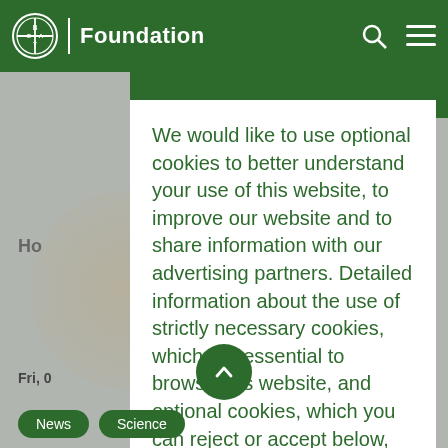[Figure (screenshot): Bayer Foundation website screenshot with dark green navigation bar showing Bayer logo and Foundation text, partially visible page content behind a cookie consent modal]
Bayer | Foundation
We would like to use optional cookies to better understand your use of this website, to improve our website and to share information with our advertising partners. Detailed information about the use of strictly necessary cookies, which are essential to browse this website, and optional cookies, which you can reject or accept below, and how you can manage or withdraw your consent at any
Fri, 0
News
Science